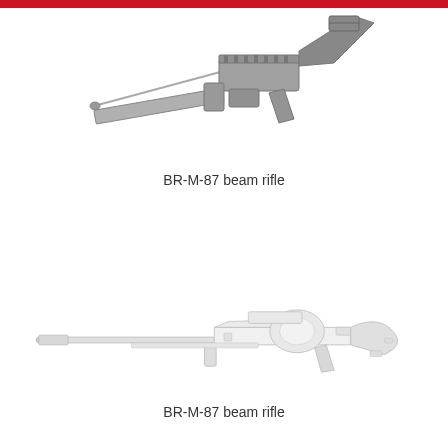[Figure (illustration): Technical illustration of the BR-M-87 beam rifle shown from a three-quarter angle with detailed mechanical components including barrel, grip, and body in gray tones]
BR-M-87 beam rifle
[Figure (illustration): Technical illustration of the BR-M-87 beam rifle shown from a side profile angle, elongated view, with detailed line art showing mechanical components in white and light gray]
BR-M-87 beam rifle